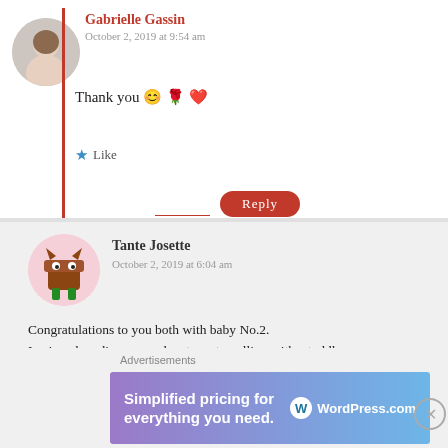[Figure (photo): Circular avatar photo of Gabrielle Gassin, a woman with dark hair up]
Gabrielle Gassin
October 2, 2019 at 9:54 am
Thank you 😊 🌹 ❤️
★ Like
Reply
[Figure (illustration): Circular avatar of Tante Josette, a cartoon monster/creature character]
Tante Josette
October 2, 2019 at 6:04 am
Congratulations to you both with baby No.2.
I enjoyed reading your adventures travelling with a toddler.
You certainly are doing a good job and are an inspiration to young couples.
★ Liked by 2 people
Advertisements
[Figure (screenshot): WordPress.com advertisement banner: Simplified pricing for everything you need. WordPress.com logo on purple-blue gradient background]